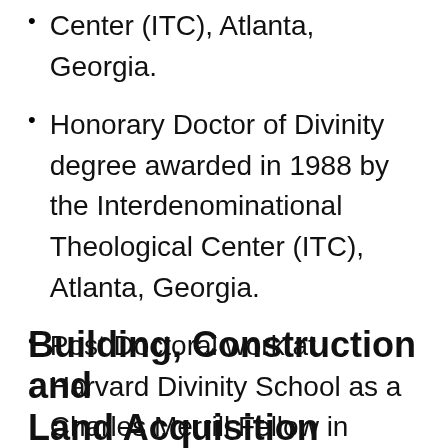Center (ITC), Atlanta, Georgia.
Honorary Doctor of Divinity degree awarded in 1988 by the Interdenominational Theological Center (ITC), Atlanta, Georgia.
Post Doctoral work at Harvard Divinity School as a Charles Merrill Fellow in 1985.
Building, Construction and Land Acquisition